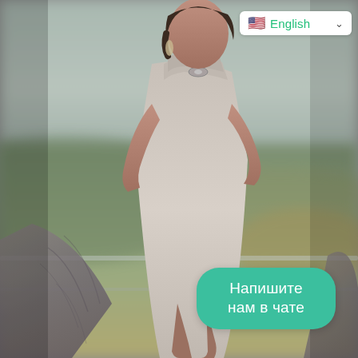[Figure (photo): Woman in a grey sleeveless turtleneck dress holding a grey knit cardigan/shawl, standing on a balcony with a blurred green/brown landscape background. Fashion/lifestyle photo.]
🇺🇸 English ∨
Напишите нам в чате